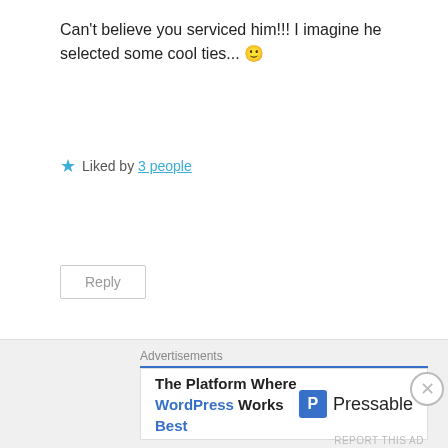Can't believe you serviced him!!! I imagine he selected some cool ties... 🙂
★ Liked by 3 people
Reply
[Figure (photo): Circular avatar photo of two men standing together outdoors]
Nedster
March 17, 2017 at 12:24 am
Advertisements
The Platform Where WordPress Works Best   Pressable